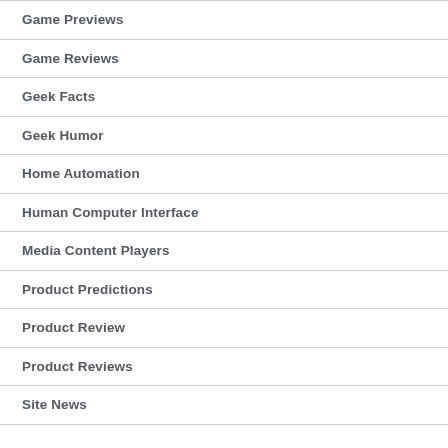Game Previews
Game Reviews
Geek Facts
Geek Humor
Home Automation
Human Computer Interface
Media Content Players
Product Predictions
Product Review
Product Reviews
Site News